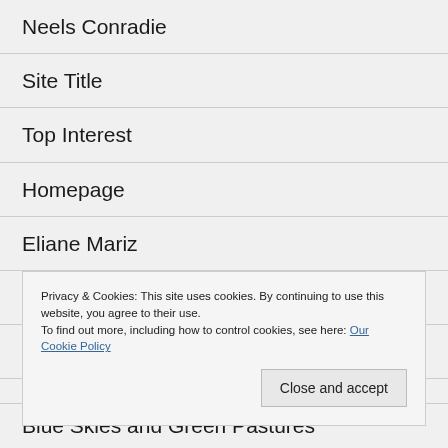Neels Conradie
Site Title
Top Interest
Homepage
Eliane Mariz
Graham Stephan
Salsaworldtraveler'sblog
Privacy & Cookies: This site uses cookies. By continuing to use this website, you agree to their use.
To find out more, including how to control cookies, see here: Our Cookie Policy
Blue Skies and Green Pastures